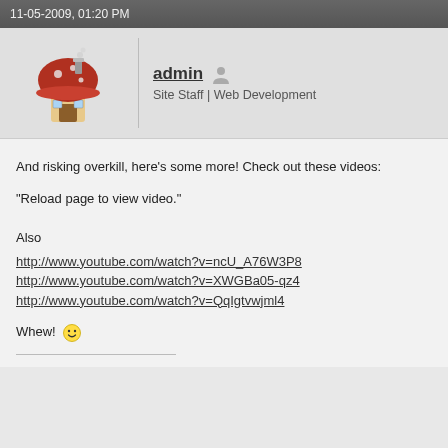11-05-2009, 01:20 PM
admin
Site Staff | Web Development
And risking overkill, here's some more! Check out these videos:

"Reload page to view video."

Also
http://www.youtube.com/watch?v=ncU_A76W3P8
http://www.youtube.com/watch?v=XWGBa05-qz4
http://www.youtube.com/watch?v=QqIgtvwjml4

Whew! :)